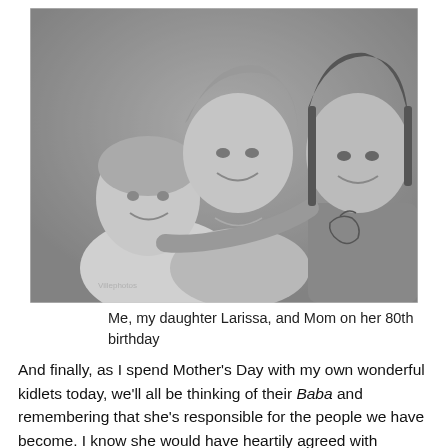[Figure (photo): Black and white portrait photograph of three women. An elderly woman is seated/positioned at lower left smiling, a middle-aged woman is in the center-back smiling, and a younger woman with dark hair is on the right. The younger woman has a visible tattoo on her shoulder.]
Me, my daughter Larissa, and Mom on her 80th birthday
And finally, as I spend Mother's Day with my own wonderful kidlets today, we'll all be thinking of their Baba and remembering that she's responsible for the people we have become. I know she would have heartily agreed with